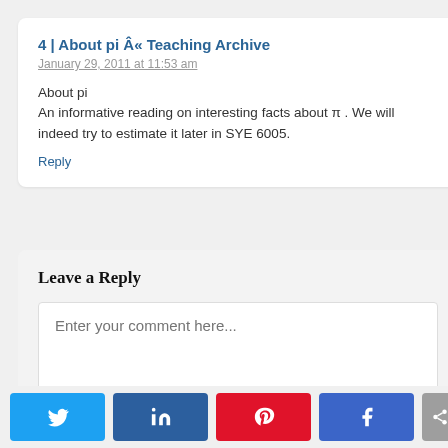4 | About pi « Teaching Archive
January 29, 2011 at 11:53 am
About pi
An informative reading on interesting facts about π. We will indeed try to estimate it later in SYE 6005.
Reply
Leave a Reply
Enter your comment here...
[Figure (other): Social sharing buttons: Twitter, LinkedIn, Pinterest, Facebook, and a share icon]